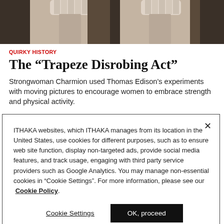[Figure (photo): Black and white photograph showing a person (strongwoman Charmion) in costume, cropped to show lower torso and legs, doubled/mirrored composition]
QUIRKY HISTORY
The “Trapeze Disrobing Act”
Strongwoman Charmion used Thomas Edison’s experiments with moving pictures to encourage women to embrace strength and physical activity.
ITHAKA websites, which ITHAKA manages from its location in the United States, use cookies for different purposes, such as to ensure web site function, display non-targeted ads, provide social media features, and track usage, engaging with third party service providers such as Google Analytics. You may manage non-essential cookies in “Cookie Settings”. For more information, please see our  Cookie Policy.
Cookie Settings
OK, proceed